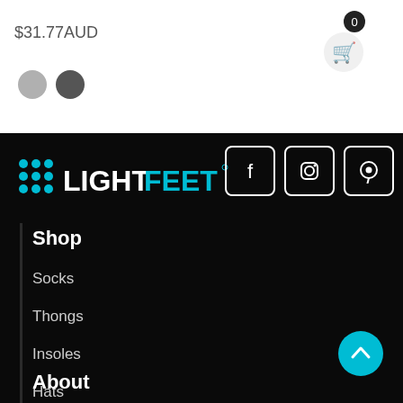$31.77AUD
[Figure (screenshot): Two color option circles: light grey and dark grey]
[Figure (logo): LightFeet logo with teal dot-grid and LIGHTFEET text]
[Figure (infographic): Social media icons for Facebook, Instagram, and Pinterest in white rounded square borders]
Shop
Socks
Thongs
Insoles
Hats
Shop All
Black Friday Sale
About